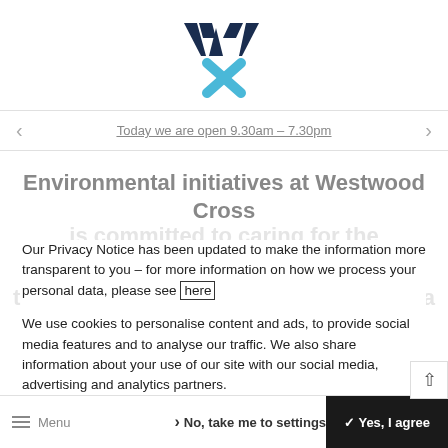[Figure (logo): Westwood Cross logo — dark navy W shape and light blue X shape forming a stylized WX monogram]
Today we are open 9.30am – 7.30pm
Environmental initiatives at Westwood Cross
Our Privacy Notice has been updated to make the information more transparent to you – for more information on how we process your personal data, please see here
We use cookies to personalise content and ads, to provide social media features and to analyse our traffic. We also share information about your use of our site with our social media, advertising and analytics partners.
No, take me to settings
✓ Yes, I agree